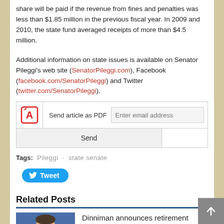share will be paid if the revenue from fines and penalties was less than $1.85 million in the previous fiscal year. In 2009 and 2010, the state fund averaged receipts of more than $4.5 million.
Additional information on state issues is available on Senator Pileggi’s web site (SenatorPileggi.com), Facebook (facebook.com/SenatorPileggi) and Twitter (twitter.com/SenatorPileggi).
[Figure (other): Send article as PDF widget with email input and Send button]
Tags: Pileggi · state senate
[Figure (other): Tweet button (Twitter/X social share button)]
Related Posts
[Figure (photo): Photo of a man in a suit smiling, blue background]
Dinniman announces retirement